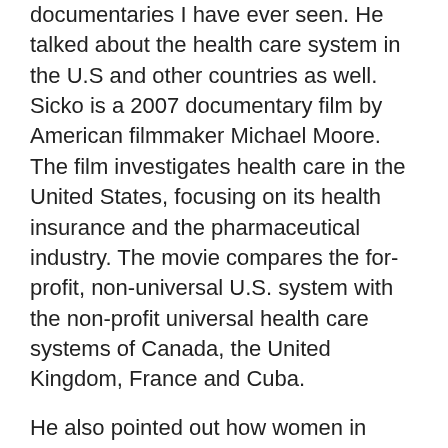documentaries I have ever seen. He talked about the health care system in the U.S and other countries as well. Sicko is a 2007 documentary film by American filmmaker Michael Moore. The film investigates health care in the United States, focusing on its health insurance and the pharmaceutical industry. The movie compares the for-profit, non-universal U.S. system with the non-profit universal health care systems of Canada, the United Kingdom, France and Cuba.
He also pointed out how women in some countries have a longer maternity leave than women in other countries. I think all woman should have at least six months off with pay. No country is perfect.
There are nearly 50 million Americans without health insurance.
The Medicare Part D plan will hand over $800 billion of our tax dollars to the drug and health insurance industry.
A baby born in El Salvador has a better chance of surviving than a baby born here.